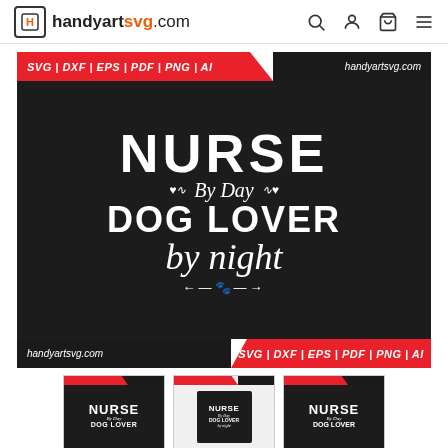handyartsvg.com
[Figure (illustration): Product listing image for SVG design file: 'Nurse By Day Dog Lover by Night' with red/black banners showing 'SVG | DXF | EPS | PDF | PNG | AI' and 'handyartsvg.com' branding. Main dark background with white typography design.]
[Figure (illustration): Three thumbnail previews of the same design in different presentations (dark background, t-shirt mockup, dark background variant)]